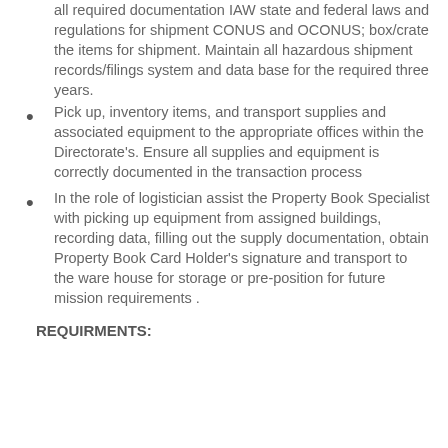all required documentation IAW state and federal laws and regulations for shipment CONUS and OCONUS; box/crate the items for shipment. Maintain all hazardous shipment records/filings system and data base for the required three years.
Pick up, inventory items, and transport supplies and associated equipment to the appropriate offices within the Directorate's. Ensure all supplies and equipment is correctly documented in the transaction process
In the role of logistician assist the Property Book Specialist with picking up equipment from assigned buildings, recording data, filling out the supply documentation, obtain Property Book Card Holder's signature and transport to the ware house for storage or pre-position for future mission requirements .
REQUIRMENTS: